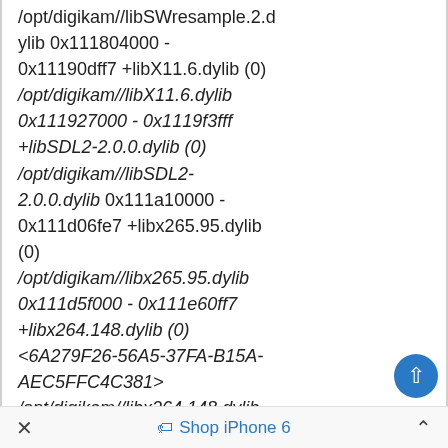/opt/digikam//libSWresample.2.dylib 0x111804000 - 0x11190dff7 +libX11.6.dylib (0) /opt/digikam//libX11.6.dylib 0x111927000 - 0x1119f3fff +libSDL2-2.0.0.dylib (0) /opt/digikam//libSDL2-2.0.0.dylib 0x111a10000 - 0x111d06fe7 +libx265.95.dylib (0) /opt/digikam//libx265.95.dylib 0x111d5f000 - 0x111e60ff7 +libx264.148.dylib (0) <6A279F26-56A5-37FA-B15A-AEC5FFC4C381> /opt/digikam//libx264.148.dylib 0x111ef5000 - 0x111f6cfff +libvorbisenc.2.dylib (0)
× Shop iPhone 6 ^